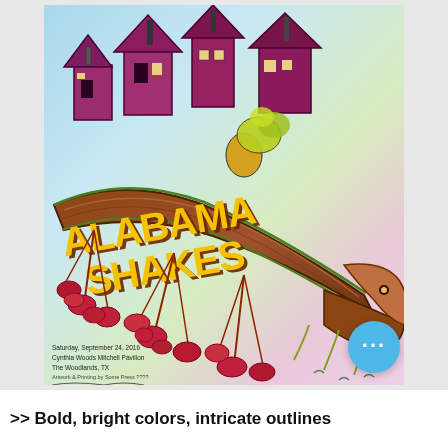[Figure (illustration): Psychedelic concert poster for Alabama Shakes. Features bold yellow/gold stylized band name text on a diagonal brown branch/root structure, purple illustrated buildings/houses on top, colorful vines and leaf clusters hanging below, and a figure silhouette. Pastel sky background in blues and pinks. Bottom left has venue details: Saturday, September 24, 2016 / Cynthia Woods Mitchell Pavilion / The Woodlands, TX. A circular blue button with '...' appears at lower right.]
>> Bold, bright colors, intricate outlines